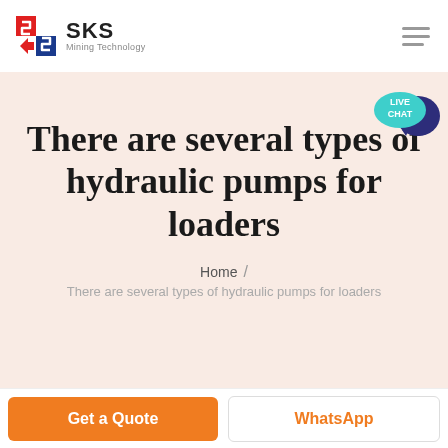SKS Mining Technology
There are several types of hydraulic pumps for loaders
Home / There are several types of hydraulic pumps for loaders
Get a Quote
WhatsApp